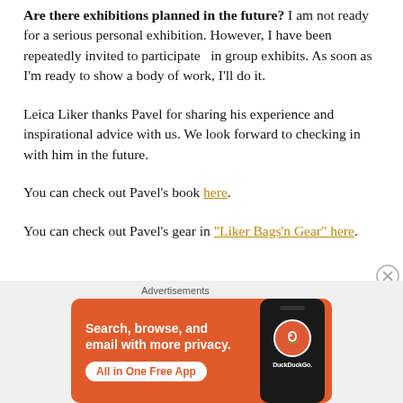Are there exhibitions planned in the future? I am not ready for a serious personal exhibition. However, I have been repeatedly invited to participate in group exhibits. As soon as I'm ready to show a body of work, I'll do it.
Leica Liker thanks Pavel for sharing his experience and inspirational advice with us. We look forward to checking in with him in the future.
You can check out Pavel's book here.
You can check out Pavel's gear in "Liker Bags'n Gear" here.
[Figure (screenshot): DuckDuckGo advertisement banner with orange background. Text reads: Search, browse, and email with more privacy. All in One Free App. Shows a smartphone with the DuckDuckGo logo.]